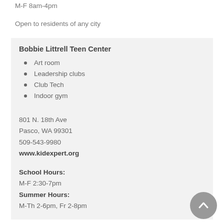M-F 8am-4pm
Open to residents of any city
Bobbie Littrell Teen Center
Art room
Leadership clubs
Club Tech
Indoor gym
801 N. 18th Ave
Pasco, WA 99301
509-543-9980
www.kidexpert.org
School Hours:
M-F 2:30-7pm
Summer Hours:
M-Th 2-6pm, Fr 2-8pm